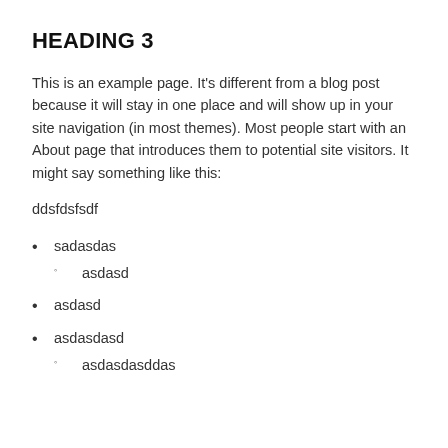HEADING 3
This is an example page. It's different from a blog post because it will stay in one place and will show up in your site navigation (in most themes). Most people start with an About page that introduces them to potential site visitors. It might say something like this:
ddsfdsfsdf
sadasdas
asdasd
asdasd
asdasdasd
asdasdasddas